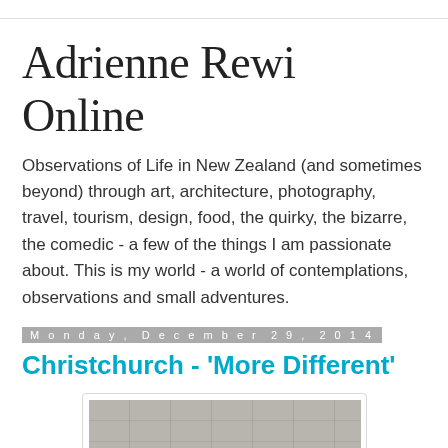Adrienne Rewi Online
Observations of Life in New Zealand (and sometimes beyond) through art, architecture, photography, travel, tourism, design, food, the quirky, the bizarre, the comedic - a few of the things I am passionate about. This is my world - a world of contemplations, observations and small adventures.
Monday, December 29, 2014
Christchurch - 'More Different'
[Figure (photo): Photograph of a concrete or stone surface with the text 'ZENWASHERE' written on it in bold monospace lettering]